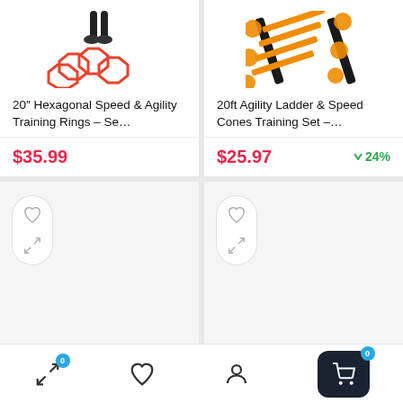[Figure (screenshot): Product card: 20" Hexagonal Speed & Agility Training Rings – Se... with red hexagonal rings image and person stepping through them. Price $35.99 in red.]
[Figure (screenshot): Product card: 20ft Agility Ladder & Speed Cones Training Set –... with orange agility ladder and cones image. Price $25.97 in red with green 24% discount badge.]
[Figure (screenshot): Empty product card with heart and expand icons in a white pill]
[Figure (screenshot): Empty product card with heart and expand icons in a white pill]
[Figure (screenshot): Bottom navigation bar with compare (badge 0), wishlist, profile, and cart (badge 0) icons]